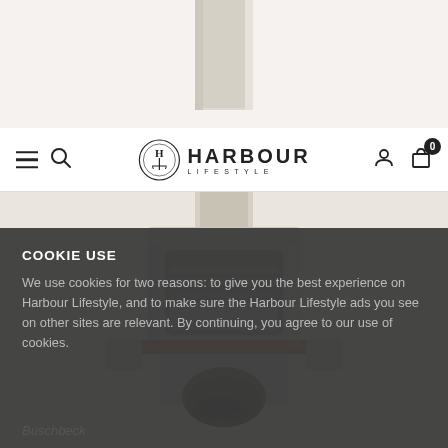[Figure (photo): Top portion of a stone/concrete outdoor pizza oven with a chimney pipe visible against a white background]
≡  🔍   HARBOUR LIFESTYLE   👤  🛍 0
[Figure (photo): Main body of a Buschbeck stone outdoor pizza oven/barbecue with open front showing cooking grates and a copper-colored metal shelf/counter surrounding the base]
COOKIE USE
We use cookies for two reasons: to give you the best experience on Harbour Lifestyle, and to make sure the Harbour Lifestyle ads you see on other sites are relevant. By continuing, you agree to our use of cookies.
Buschbeck